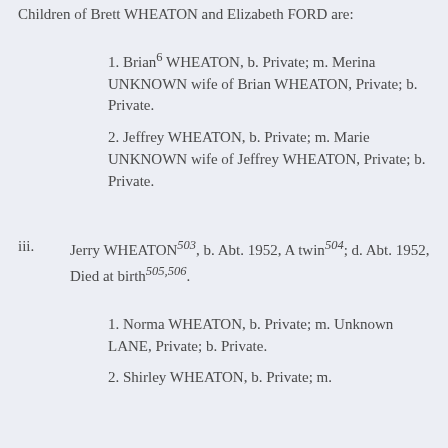Children of Brett WHEATON and Elizabeth FORD are:
1. Brian⁶ WHEATON, b. Private; m. Merina UNKNOWN wife of Brian WHEATON, Private; b. Private.
2. Jeffrey WHEATON, b. Private; m. Marie UNKNOWN wife of Jeffrey WHEATON, Private; b. Private.
iii. Jerry WHEATON⁵⁰³, b. Abt. 1952, A twin⁵⁰⁴; d. Abt. 1952, Died at birth⁵⁰⁵·⁵⁰⁶.
1. Norma WHEATON, b. Private; m. Unknown LANE, Private; b. Private.
2. Shirley WHEATON, b. Private; m.